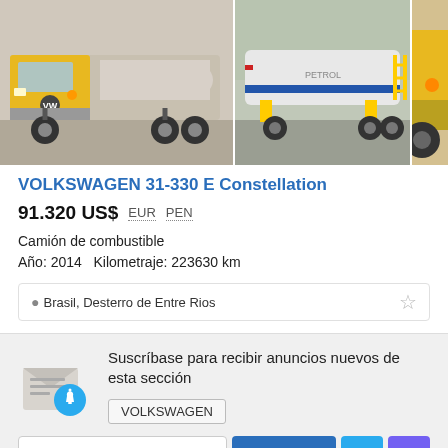[Figure (photo): Three truck images in a row: left shows yellow Volkswagen fuel truck front view, center shows white tanker truck side/rear view, right shows partial view of yellow truck]
VOLKSWAGEN 31-330 E Constellation
91.320 US$  EUR  PEN
Camión de combustible
Año: 2014  Kilometraje: 223630 km
Brasil, Desterro de Entre Rios
Suscríbase para recibir anuncios nuevos de esta sección
VOLKSWAGEN
Introduzca su dirección
Suscribirse